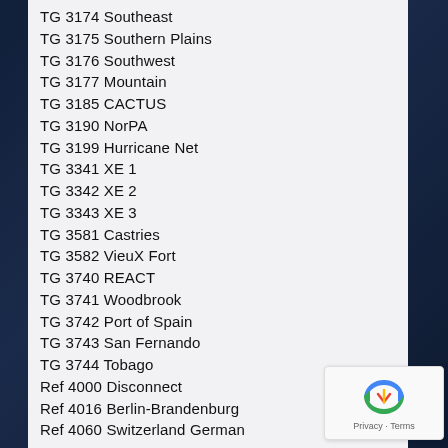TG 3174 Southeast
TG 3175 Southern Plains
TG 3176 Southwest
TG 3177 Mountain
TG 3185 CACTUS
TG 3190 NorPA
TG 3199 Hurricane Net
TG 3341 XE 1
TG 3342 XE 2
TG 3343 XE 3
TG 3581 Castries
TG 3582 VieuX Fort
TG 3740 REACT
TG 3741 Woodbrook
TG 3742 Port of Spain
TG 3743 San Fernando
TG 3744 Tobago
Ref 4000 Disconnect
Ref 4016 Berlin-Brandenburg
Ref 4060 Switzerland German